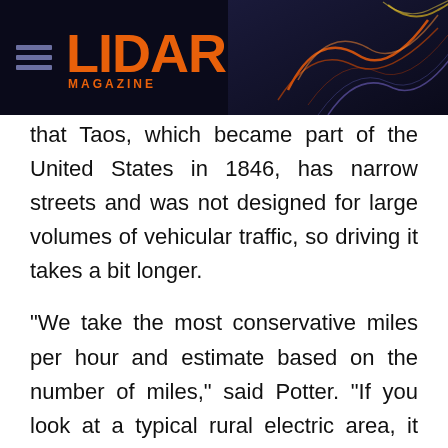LIDAR MAGAZINE
that Taos, which became part of the United States in 1846, has narrow streets and was not designed for large volumes of vehicular traffic, so driving it takes a bit longer.
"We take the most conservative miles per hour and estimate based on the number of miles," said Potter. "If you look at a typical rural electric area, it would take 18 months to conduct a traditional facilities' inventory with six to eight people working every day, five days a weekwe're now accomplishing the same thing in less than four months with two people in the field. If we used two vehicles, it would reduce the time to less than